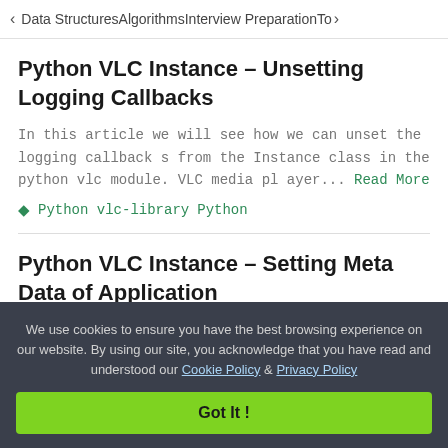< Data Structures   Algorithms   Interview Preparation   To>
Python VLC Instance – Unsetting Logging Callbacks
In this article we will see how we can unset the logging callbacks from the Instance class in the python vlc module. VLC media player... Read More
Python vlc-library   Python
Python VLC Instance – Setting Meta Data of Application
We use cookies to ensure you have the best browsing experience on our website. By using our site, you acknowledge that you have read and understood our Cookie Policy & Privacy Policy
Got It !